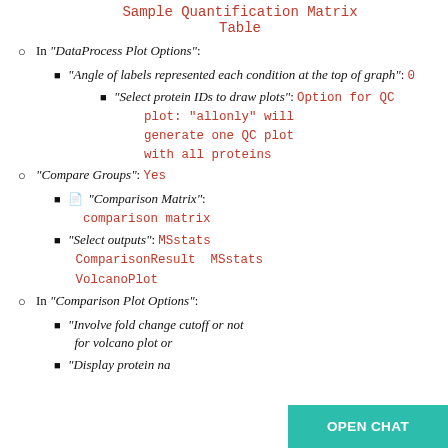Sample Quantification Matrix Table
In "DataProcess Plot Options":
"Angle of labels represented each condition at the top of graph": 0
"Select protein IDs to draw plots": Option for QC plot: "allonly" will generate one QC plot with all proteins
"Compare Groups": Yes
"Comparison Matrix": comparison matrix
"Select outputs": MSstats ComparisonResult  MSstats VolcanoPlot
In "Comparison Plot Options":
"Involve fold change cutoff or not for volcano plot or
"Display protein na